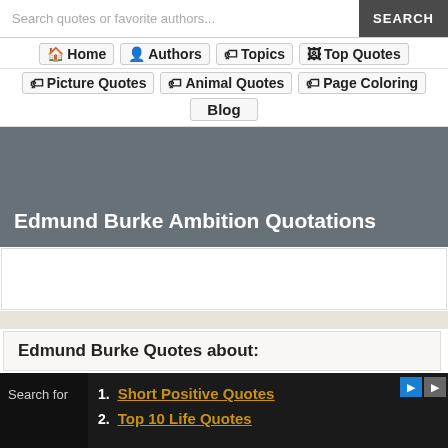Search quotes or favorite authors... SEARCH
Home  Authors  Topics  Top Quotes
Picture Quotes  Animal Quotes  Page Coloring
Blog
Edmund Burke Ambition Quotations
Edmund Burke Quotes about:
1. Short Positive Quotes
2. Top 10 Life Quotes
Search for